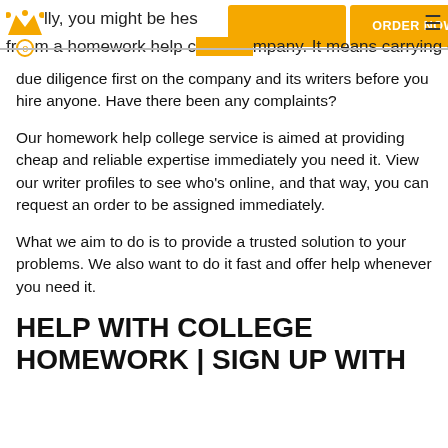lly, you might be hesitating placing an order from a homework help company. It means carrying out due diligence first on the company and its writers before you hire anyone. Have there been any complaints?
Our homework help college service is aimed at providing cheap and reliable expertise immediately you need it. View our writer profiles to see who’s online, and that way, you can request an order to be assigned immediately.
What we aim to do is to provide a trusted solution to your problems. We also want to do it fast and offer help whenever you need it.
HELP WITH COLLEGE HOMEWORK | SIGN UP WITH